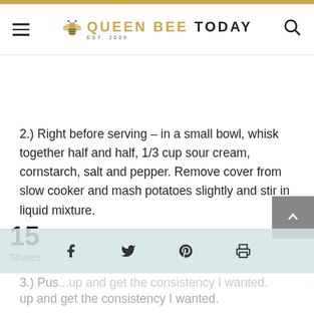QUEEN BEE TODAY EST. 2009
2.) Right before serving – in a small bowl, whisk together half and half, 1/3 cup sour cream, cornstarch, salt and pepper. Remove cover from slow cooker and mash potatoes slightly and stir in liquid mixture.
3.) Push up and get the consistency I wanted.